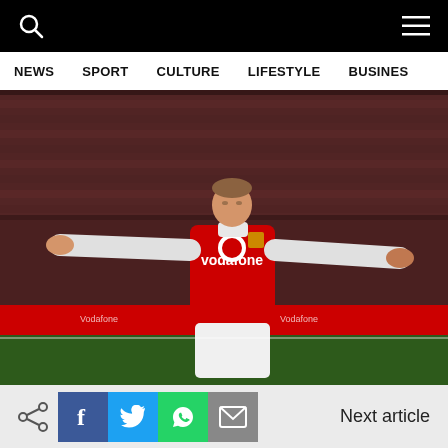NEWS  SPORT  CULTURE  LIFESTYLE  BUSINESS
[Figure (photo): Rugby player wearing a red British & Irish Lions Vodafone jersey with arms outstretched on a rugby field]
Next article